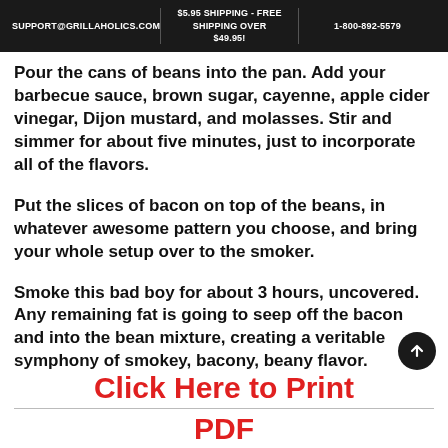SUPPORT@GRILLAHOLICS.COM | $5.95 SHIPPING - FREE SHIPPING OVER $49.95! | 1-800-892-5579
Pour the cans of beans into the pan. Add your barbecue sauce, brown sugar, cayenne, apple cider vinegar, Dijon mustard, and molasses. Stir and simmer for about five minutes, just to incorporate all of the flavors.
Put the slices of bacon on top of the beans, in whatever awesome pattern you choose, and bring your whole setup over to the smoker.
Smoke this bad boy for about 3 hours, uncovered. Any remaining fat is going to seep off the bacon and into the bean mixture, creating a veritable symphony of smokey, bacony, beany flavor.
Click Here to Print